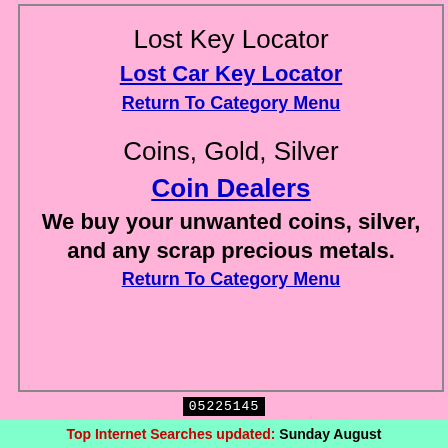Lost Key Locator
Lost Car Key Locator
Return To Category Menu
Coins, Gold, Silver
Coin Dealers
We buy your unwanted coins, silver, and any scrap precious metals.
Return To Category Menu
05225145
Top Internet Searches updated: Sunday August